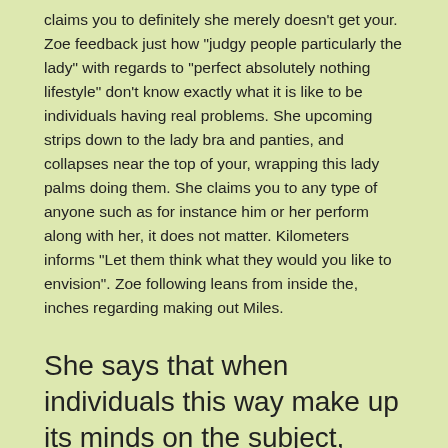claims you to definitely she merely doesn't get your. Zoe feedback just how “judgy people particularly the lady” with regards to “perfect absolutely nothing lifestyle” don't know exactly what it is like to be individuals having real problems. She upcoming strips down to the lady bra and panties, and collapses near the top of your, wrapping this lady palms doing them. She claims you to any type of anyone such as for instance him or her perform along with her, it does not matter. Kilometers informs “Let them think what they would you like to envision”. Zoe following leans from inside the, inches regarding making out Miles.
She says that when individuals this way make up its minds on the subject, they will not change
However, Miles following recounts an experience of both